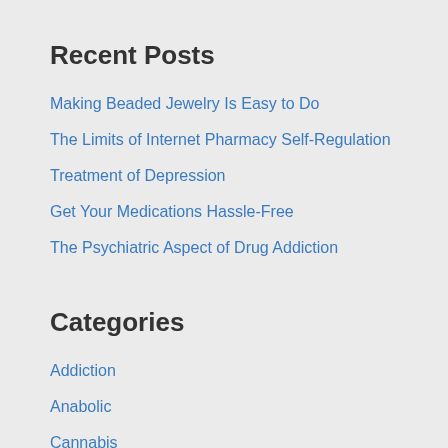Recent Posts
Making Beaded Jewelry Is Easy to Do
The Limits of Internet Pharmacy Self-Regulation
Treatment of Depression
Get Your Medications Hassle-Free
The Psychiatric Aspect of Drug Addiction
Categories
Addiction
Anabolic
Cannabis
Cbd